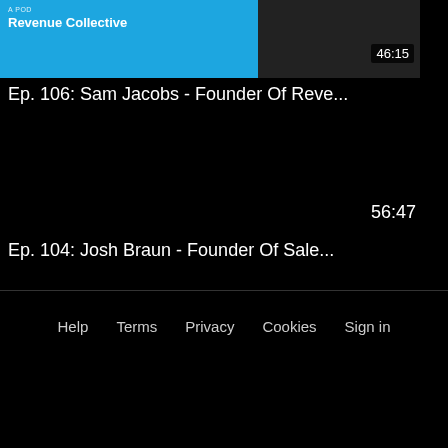[Figure (screenshot): Podcast thumbnail with blue background showing 'Revenue Collective' text and a person in black and white on the right side, with duration badge 46:15]
Ep. 106: Sam Jacobs - Founder Of Reve...
56:47
Ep. 104: Josh Braun - Founder Of Sale...
Help   Terms   Privacy   Cookies   Sign in